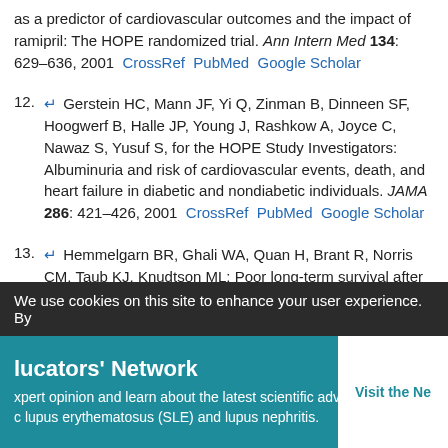as a predictor of cardiovascular outcomes and the impact of ramipril: The HOPE randomized trial. Ann Intern Med 134: 629–636, 2001  CrossRef  PubMed  Google Scholar
12. ↵ Gerstein HC, Mann JF, Yi Q, Zinman B, Dinneen SF, Hoogwerf B, Halle JP, Young J, Rashkow A, Joyce C, Nawaz S, Yusuf S, for the HOPE Study Investigators: Albuminuria and risk of cardiovascular events, death, and heart failure in diabetic and nondiabetic individuals. JAMA 286: 421–426, 2001  CrossRef  PubMed  Google Scholar
13. ↵ Hemmelgarn BR, Ghali WA, Quan H, Brant R, Norris CM, Taub KJ, Knudtson ML: Poor long-term survival after coronary angiography in patients with renal insufficiency. Am J Kidney Dis 37: 64–72, 2001  CrossRef  PubMed  Google Scholar
14. ↵ Hillege HL, Girbes AR, de Kam PJ, Boomsma F, de Zeeuw D, Charlesworth A, Hampton JR, van Veldhuisen DJ: Renal function,
We use cookies on this site to enhance your user experience. By
lucators' Network  Visit the Ne  xpert opinion and learn about the latest scientific advances c lupus erythematosus (SLE) and lupus nephritis.